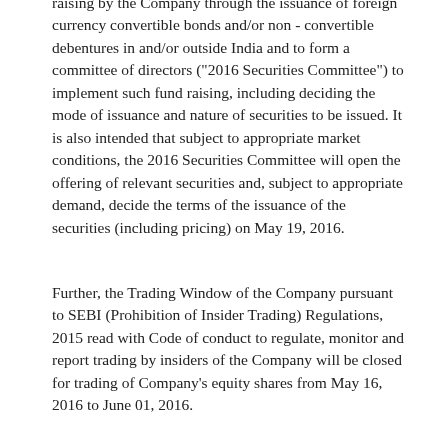raising by the Company through the issuance of foreign currency convertible bonds and/or non - convertible debentures in and/or outside India and to form a committee of directors ("2016 Securities Committee") to implement such fund raising, including deciding the mode of issuance and nature of securities to be issued. It is also intended that subject to appropriate market conditions, the 2016 Securities Committee will open the offering of relevant securities and, subject to appropriate demand, decide the terms of the issuance of the securities (including pricing) on May 19, 2016.
Further, the Trading Window of the Company pursuant to SEBI (Prohibition of Insider Trading) Regulations, 2015 read with Code of conduct to regulate, monitor and report trading by insiders of the Company will be closed for trading of Company's equity shares from May 16, 2016 to June 01, 2016.